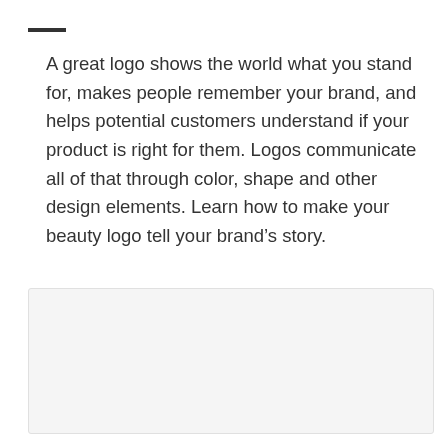A great logo shows the world what you stand for, makes people remember your brand, and helps potential customers understand if your product is right for them. Logos communicate all of that through color, shape and other design elements. Learn how to make your beauty logo tell your brand’s story.
[Figure (photo): Light gray rectangular placeholder image area with a subtle border]